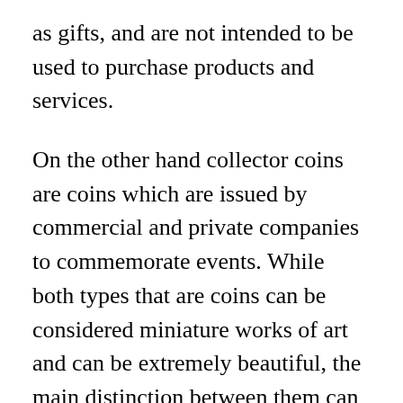as gifts, and are not intended to be used to purchase products and services.
On the other hand collector coins are coins which are issued by commercial and private companies to commemorate events. While both types that are coins can be considered miniature works of art and can be extremely beautiful, the main distinction between them can be seen in the way that commemorative coin are issued by government and collectible ones are issued by private and commercial entities.
A further difference between these two kinds of currency is collectible ones typically are